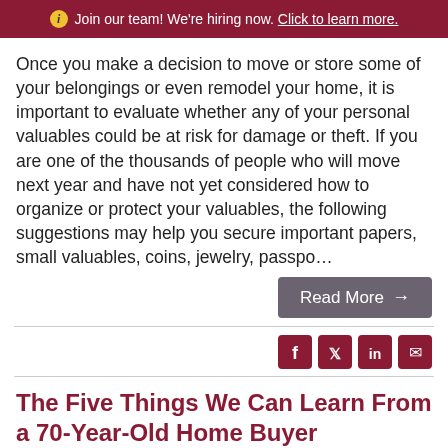Join our team! We're hiring now. Click to learn more.
Once you make a decision to move or store some of your belongings or even remodel your home, it is important to evaluate whether any of your personal valuables could be at risk for damage or theft. If you are one of the thousands of people who will move next year and have not yet considered how to organize or protect your valuables, the following suggestions may help you secure important papers, small valuables, coins, jewelry, passpo…
Read More →
The Five Things We Can Learn From a 70-Year-Old Home Buyer
Posted by Susette Stiles-Hofland on November 12, 2015